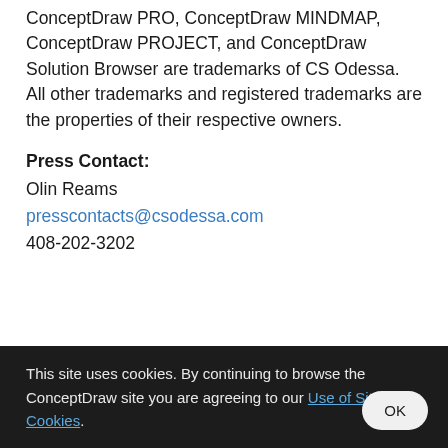ConceptDraw PRO, ConceptDraw MINDMAP, ConceptDraw PROJECT, and ConceptDraw Solution Browser are trademarks of CS Odessa. All other trademarks and registered trademarks are the properties of their respective owners.
Press Contact:
Olin Reams
presscontacts@csodessa.com
408-202-3202
This site uses cookies. By continuing to browse the ConceptDraw site you are agreeing to our Use of Site Cookies.